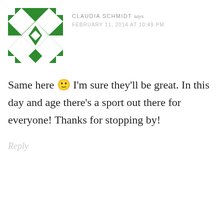[Figure (illustration): Green and white geometric pattern avatar/icon for user Claudia Schmidt]
CLAUDIA SCHMIDT says
FEBRUARY 11, 2014 AT 10:49 PM
Same here 🙂 I'm sure they'll be great. In this day and age there's a sport out there for everyone! Thanks for stopping by!
Reply